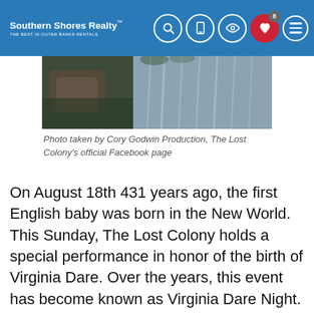Southern Shores Realty — THE BEST IN OUTER BANKS RENTALS
[Figure (photo): Partial photo showing animals or nature scene, taken by Cory Godwin Production for The Lost Colony's official Facebook page]
Photo taken by Cory Godwin Production, The Lost Colony's official Facebook page
On August 18th 431 years ago, the first English baby was born in the New World. This Sunday, The Lost Colony holds a special performance in honor of the birth of Virginia Dare. Over the years, this event has become known as Virginia Dare Night. In this performance, the prop used for the baby Virginia Dare is replaced with a special guest performer. Many years have seen the same tradition take a #D...